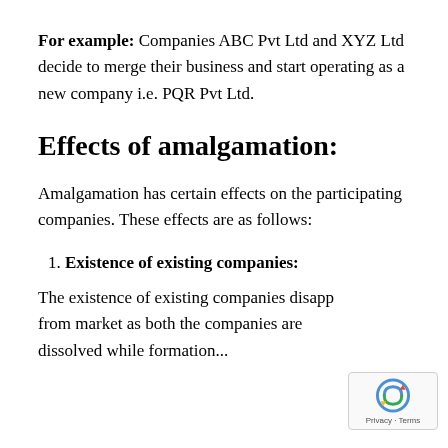For example: Companies ABC Pvt Ltd and XYZ Ltd decide to merge their business and start operating as a new company i.e. PQR Pvt Ltd.
Effects of amalgamation:
Amalgamation has certain effects on the participating companies. These effects are as follows:
1. Existence of existing companies:
The existence of existing companies disapp from market as both the companies are dissolved while formation...